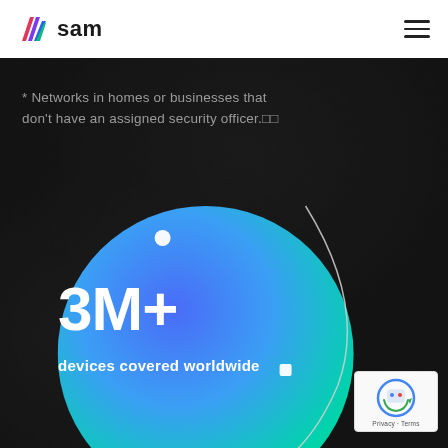[Figure (logo): SAM logo with colorful diagonal stripe icon and 'sam' text in bold]
[Figure (illustration): Dark satellite/earth texture background with a large blue-to-green gradient circle/globe graphic, orbital arc line, and two white dot markers]
* Networks in homes or businesses that don't have an assigned security officer.□□
3M+
devices covered worldwide
[Figure (other): reCAPTCHA badge with robot icon and Privacy - Terms links]